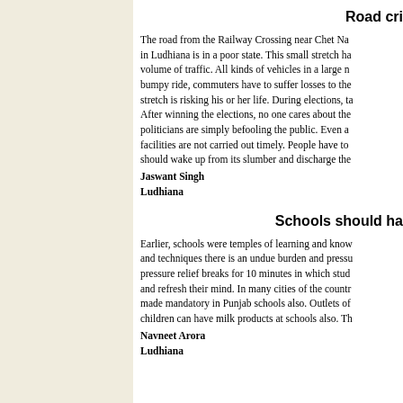Road cri...
The road from the Railway Crossing near Chet Na... in Ludhiana is in a poor state. This small stretch ha... volume of traffic. All kinds of vehicles in a large n... bumpy ride, commuters have to suffer losses to the... stretch is risking his or her life. During elections, ta... After winning the elections, no one cares about the... politicians are simply befooling the public. Even a... facilities are not carried out timely. People have to... should wake up from its slumber and discharge the...
Jaswant Singh
Ludhiana
Schools should ha...
Earlier, schools were temples of learning and know... and techniques there is an undue burden and pressu... pressure relief breaks for 10 minutes in which stud... and refresh their mind. In many cities of the countr... made mandatory in Punjab schools also. Outlets of... children can have milk products at schools also. Th...
Navneet Arora
Ludhiana